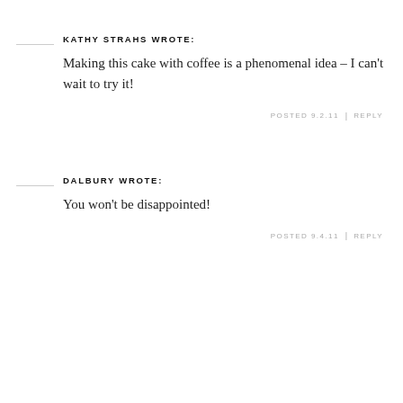KATHY STRAHS WROTE:
Making this cake with coffee is a phenomenal idea – I can't wait to try it!
POSTED 9.2.11 | REPLY
DALBURY WROTE:
You won't be disappointed!
POSTED 9.4.11 | REPLY